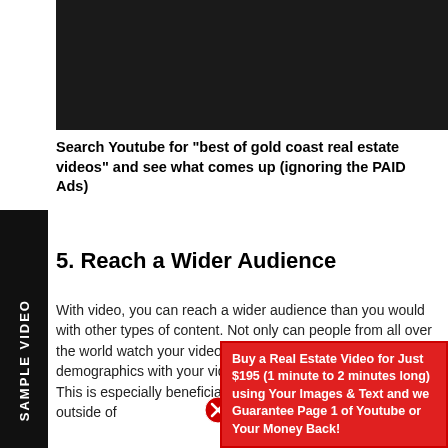[Figure (screenshot): Dark/black video thumbnail placeholder]
Search Youtube for "best of gold coast real estate videos" and see what comes up (ignoring the PAID Ads)
5. Reach a Wider Audience
With video, you can reach a wider audience than you would with other types of content. Not only can people from all over the world watch your videos, but you can also target specific demographics with your videos.
This is especially beneficial if you're trying to market to buyers outside of
[Figure (infographic): Red advertisement banner: Buy a Real Estate Video for Just $195 (1 minute to 2 minutes long) using Your Images & Text and we Guarantee Page 1 of Youtube or Your Money Back!]